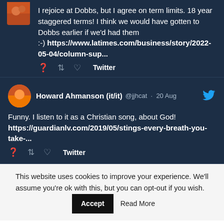I rejoice at Dobbs, but I agree on term limits. 18 year staggered terms! I think we would have gotten to Dobbs earlier if we'd had them :-) https://www.latimes.com/business/story/2022-05-04/column-sup...
Twitter
Howard Ahmanson (it/it) @jjhcat · 20 Aug
Funny. I listen to it as a Christian song, about God! https://guardianlv.com/2019/05/stings-every-breath-you-take-...
Twitter
This website uses cookies to improve your experience. We'll assume you're ok with this, but you can opt-out if you wish. Accept Read More